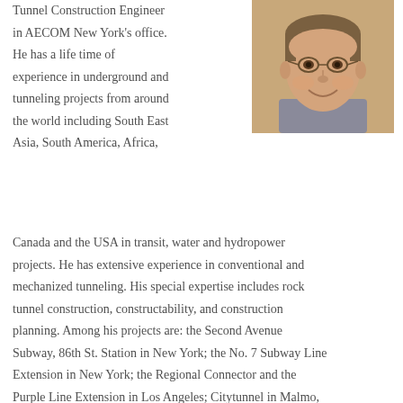Tunnel Construction Engineer in AECOM New York's office. He has a life time of experience in underground and tunneling projects from around the world including South East Asia, South America, Africa, Canada and the USA in transit, water and hydropower projects. He has extensive experience in conventional and mechanized tunneling. His special expertise includes rock tunnel construction, constructability, and construction planning. Among his projects are: the Second Avenue Subway, 86th St. Station in New York; the No. 7 Subway Line Extension in New York; the Regional Connector and the Purple Line Extension in Los Angeles; Citytunnel in Malmo, Sweden; the Kukule Ganga Hydro Power Project, Sri Lanka; Uri Hydro Power Project in India; and the Hong Kong Strategic Sewage Scheme.
[Figure (photo): Headshot of a middle-aged man with glasses, smiling, wearing a grey jacket, against a warm brown background.]